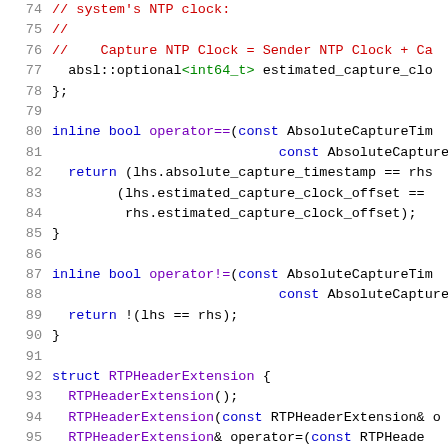[Figure (screenshot): Source code screenshot showing C++ code lines 74-95 with syntax highlighting. Line numbers in gray on left, comments in red, keywords in blue, types in green, function names in purple.]